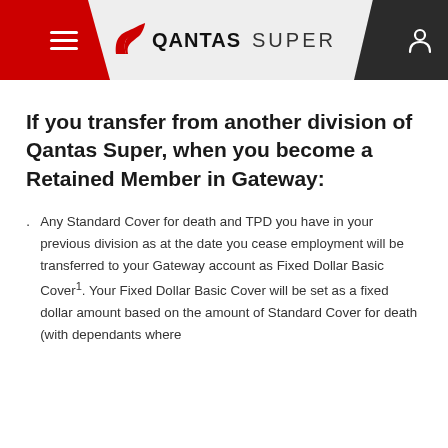QANTAS SUPER
If you transfer from another division of Qantas Super, when you become a Retained Member in Gateway:
Any Standard Cover for death and TPD you have in your previous division as at the date you cease employment will be transferred to your Gateway account as Fixed Dollar Basic Cover¹. Your Fixed Dollar Basic Cover will be set as a fixed dollar amount based on the amount of Standard Cover for death (with dependants where